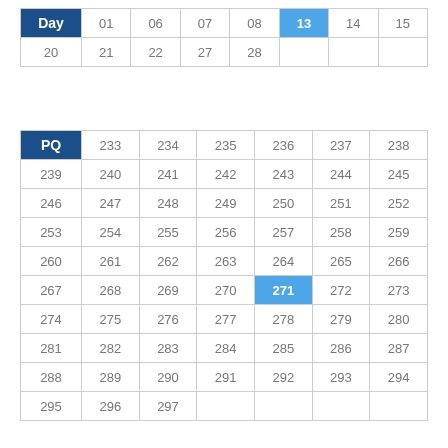| Day | 01 | 06 | 07 | 08 | 13 | 14 | 15 |
| --- | --- | --- | --- | --- | --- | --- | --- |
| 20 | 21 | 22 | 27 | 28 |  |  |  |
| PQ | 233 | 234 | 235 | 236 | 237 | 238 |
| --- | --- | --- | --- | --- | --- | --- |
| 239 | 240 | 241 | 242 | 243 | 244 | 245 |
| 246 | 247 | 248 | 249 | 250 | 251 | 252 |
| 253 | 254 | 255 | 256 | 257 | 258 | 259 |
| 260 | 261 | 262 | 263 | 264 | 265 | 266 |
| 267 | 268 | 269 | 270 | 271 | 272 | 273 |
| 274 | 275 | 276 | 277 | 278 | 279 | 280 |
| 281 | 282 | 283 | 284 | 285 | 286 | 287 |
| 288 | 289 | 290 | 291 | 292 | 293 | 294 |
| 295 | 296 | 297 |  |  |  |  |